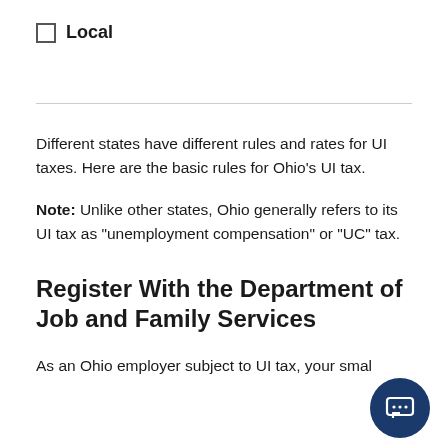Local
Different states have different rules and rates for UI taxes. Here are the basic rules for Ohio's UI tax.
Note: Unlike other states, Ohio generally refers to its UI tax as "unemployment compensation" or "UC" tax.
Register With the Department of Job and Family Services
As an Ohio employer subject to UI tax, your smal